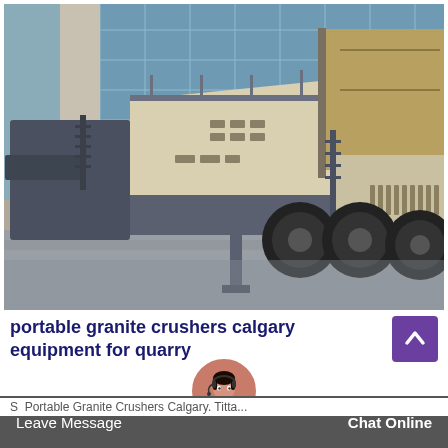[Figure (photo): A large mobile jaw crusher machine on a flatbed trailer, parked on a wet concrete surface in front of a multi-story glass-and-concrete commercial building. The crusher has a beige/cream colored body with grey steel frame, a large hopper on the right side, and heavy-duty rubber tyres.]
portable granite crushers calgary equipment for quarry
Leave Message   Chat Online